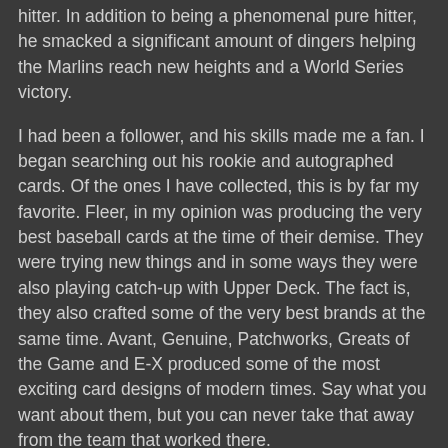hitter. In addition to being a phenomenal pure hitter, he smacked a significant amount of dingers helping the Marlins reach new heights and a World Series victory.
I had been a follower, and his skills made me a fan. I began searching out his rookie and autographed cards. Of the ones I have collected, this is by far my favorite. Fleer, in my opinion was producing the very best baseball cards at the time of their demise. They were trying new things and in some ways they were also playing catch-up with Upper Deck. The fact is, they also crafted some of the very best brands at the same time. Avant, Genuine, Patchworks, Greats of the Game and E-X produced some of the most exciting card designs of modern times. Say what you want about them, but you can never take that away from the team that worked there.
This Cabrera card comes from the 2004 Fleer Genuine Insider collection. The card and the concept is just simply cool. You have what appears to be a thick regular-sized 2.5 x 3.5 trading card. The magic is that the card slides out and inside is a beautiful autograph or in some cases a giant